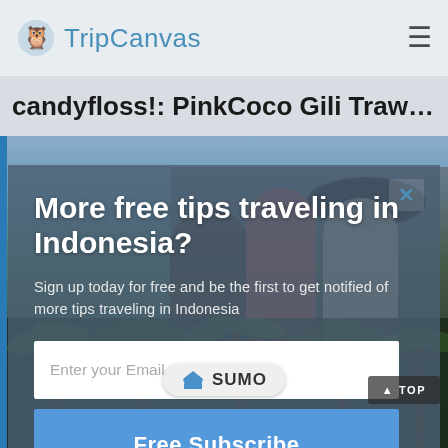TripCanvas
candyfloss!: PinkCoco Gili Trawangan
[Figure (photo): Background photo of three young women smiling outdoors, one holding an umbrella, with ocean/beach scenery behind them. A modal overlay popup is displayed on top.]
More free tips traveling in Indonesia?
Sign up today for free and be the first to get notified of more tips traveling in Indonesia
Enter your Email
Free Subscribe
no, thanks
[Figure (logo): SUMO badge/logo with crown icon]
▲ TOP